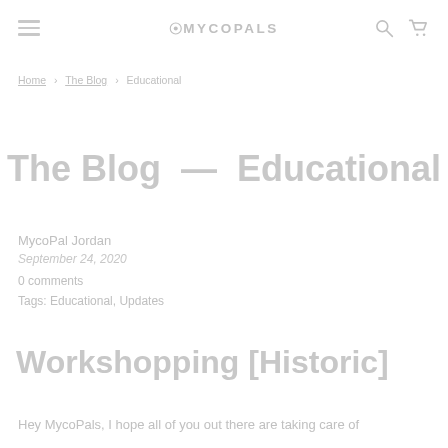≡ ⊕MYCOPALS 🔍 🛒
Home › The Blog › Educational
The Blog — Educational
MycoPal Jordan
September 24, 2020
0 comments
Tags: Educational, Updates
Workshopping [Historic]
Hey MycoPals, I hope all of you out there are taking care of